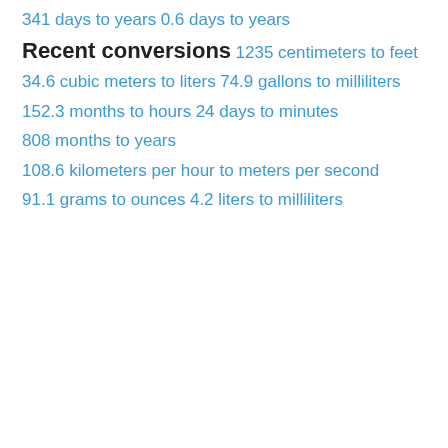341 days to years
0.6 days to years
Recent conversions
1235 centimeters to feet
34.6 cubic meters to liters
74.9 gallons to milliliters
152.3 months to hours
24 days to minutes
808 months to years
108.6 kilometers per hour to meters per second
91.1 grams to ounces
4.2 liters to milliliters